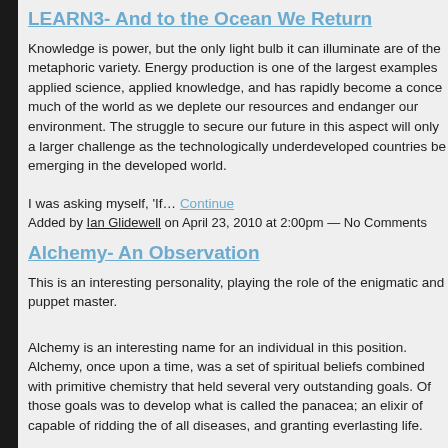LEARN3- And to the Ocean We Return
Knowledge is power, but the only light bulb it can illuminate are of the metaphoric variety. Energy production is one of the largest examples applied science, applied knowledge, and has rapidly become a conce much of the world as we deplete our resources and endanger our environment. The struggle to secure our future in this aspect will only a larger challenge as the technologically underdeveloped countries be emerging in the developed world.
I was asking myself, 'If… Continue
Added by Ian Glidewell on April 23, 2010 at 2:00pm — No Comments
Alchemy- An Observation
This is an interesting personality, playing the role of the enigmatic and puppet master.
Alchemy is an interesting name for an individual in this position. Alchemy, once upon a time, was a set of spiritual beliefs combined with primitive chemistry that held several very outstanding goals. Of those goals was to develop what is called the panacea; an elixir of capable of ridding the of all diseases, and granting everlasting life.